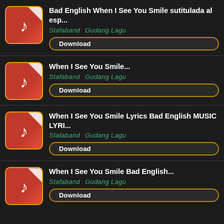Bad English When I See You Smile sutitulada al esp...
Stafaband   Gudang Lagu
Download
When I See You Smile...
Stafaband   Gudang Lagu
Download
When I See You Smile Lyrics Bad English MUSIC LYRI...
Stafaband   Gudang Lagu
Download
When I See You Smile Bad English...
Stafaband   Gudang Lagu
Download